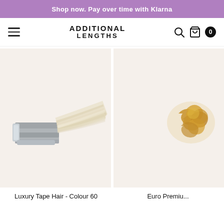Shop now. Pay over time with Klarna
[Figure (logo): Additional Lengths logo with hamburger menu, search icon, bag icon, and cart badge showing 0]
[Figure (photo): Luxury Tape Hair Extension in Colour 60 - platinum blonde tape hair weft on cream background]
[Figure (photo): Euro Premium hair extension product - honey/golden coloured hair bonds on cream background]
Luxury Tape Hair - Colour 60
Euro Premiu...